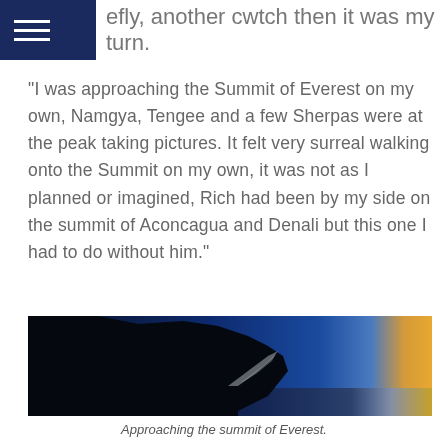efly, another cwtch then it was my turn.
"I was approaching the Summit of Everest on my own, Namgya, Tengee and a few Sherpas were at the peak taking pictures. It felt very surreal walking onto the Summit on my own, it was not as I planned or imagined, Rich had been by my side on the summit of Aconcagua and Denali but this one I had to do without him."
[Figure (photo): Dramatic photograph of a snow-covered mountain ridge approaching the summit of Everest, with a deep blue sky fading to orange and yellow at the horizon, taken at high altitude.]
Approaching the summit of Everest.